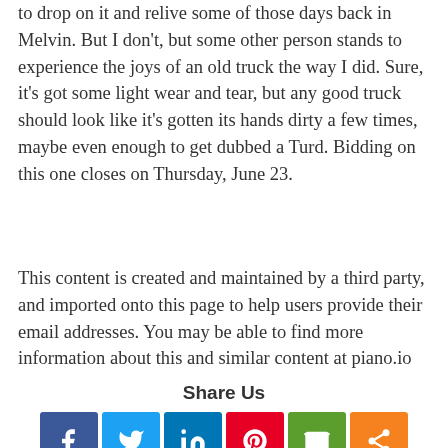to drop on it and relive some of those days back in Melvin. But I don't, but some other person stands to experience the joys of an old truck the way I did. Sure, it's got some light wear and tear, but any good truck should look like it's gotten its hands dirty a few times, maybe even enough to get dubbed a Turd. Bidding on this one closes on Thursday, June 23.
This content is created and maintained by a third party, and imported onto this page to help users provide their email addresses. You may be able to find more information about this and similar content at piano.io
Share Us
[Figure (other): Social share buttons: Facebook, Twitter, LinkedIn, Pinterest, Email, Share]